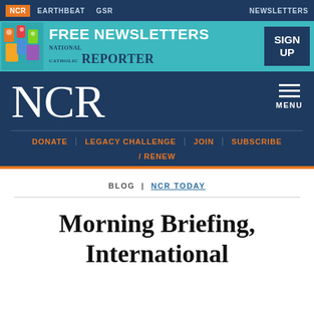NCR  EARTHBEAT  GSR  NEWSLETTERS
[Figure (infographic): FREE NEWSLETTERS banner advertisement for National Catholic Reporter with SIGN UP button]
NCR
DONATE  LEGACY CHALLENGE  JOIN  SUBSCRIBE / RENEW
BLOG | NCR TODAY
Morning Briefing, International